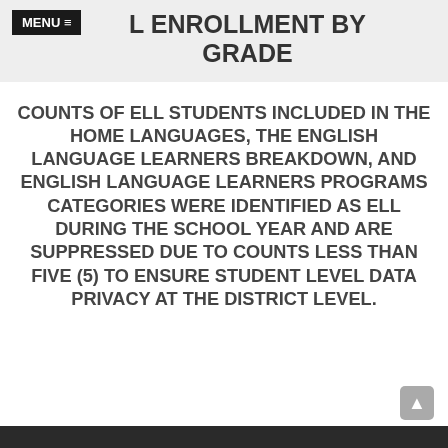L ENROLLMENT BY GRADE
COUNTS OF ELL STUDENTS INCLUDED IN THE HOME LANGUAGES, THE ENGLISH LANGUAGE LEARNERS BREAKDOWN, AND ENGLISH LANGUAGE LEARNERS PROGRAMS CATEGORIES WERE IDENTIFIED AS ELL DURING THE SCHOOL YEAR AND ARE SUPPRESSED DUE TO COUNTS LESS THAN FIVE (5) TO ENSURE STUDENT LEVEL DATA PRIVACY AT THE DISTRICT LEVEL.